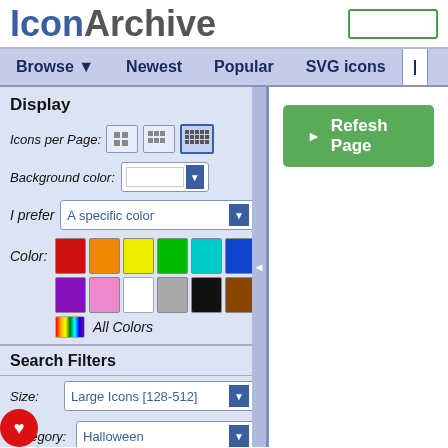[Figure (logo): IconArchive logo with blue 'Icon' and grey 'Archive' text]
Browse | Newest | Popular | SVG icons
Display
Icons per Page: [grid options]
Background color: [dropdown]
I prefer A specific color [dropdown]
Color: [color swatches - red, orange, yellow, green, cyan, blue, purple, pink, white, gray, black, brown] All Colors
Search Filters
Size: Large Icons [128-512]
Category: Halloween
Style: Professional
[Figure (screenshot): Refresh Page green button]